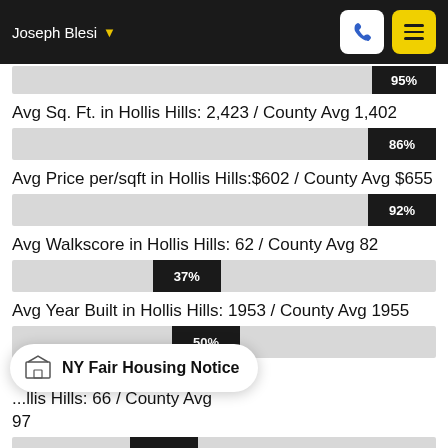Joseph Blesi
[Figure (bar-chart): Partial bar at top]
Avg Sq. Ft. in Hollis Hills: 2,423 / County Avg 1,402
[Figure (bar-chart): ]
Avg Price per/sqft in Hollis Hills:$602 / County Avg $655
[Figure (bar-chart): ]
Avg Walkscore in Hollis Hills: 62 / County Avg 82
[Figure (bar-chart): ]
Avg Year Built in Hollis Hills: 1953 / County Avg 1955
[Figure (bar-chart): ]
...llis Hills: 66 / County Avg 97
[Figure (bar-chart): ]
NY Fair Housing Notice